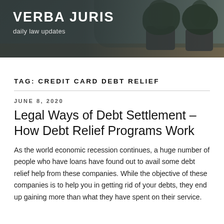[Figure (photo): Website header banner with dark background showing potted plants on a wooden surface. White bold text reads VERBA JURIS with subtitle 'daily law updates'.]
VERBA JURIS
daily law updates
TAG: CREDIT CARD DEBT RELIEF
JUNE 8, 2020
Legal Ways of Debt Settlement – How Debt Relief Programs Work
As the world economic recession continues, a huge number of people who have loans have found out to avail some debt relief help from these companies. While the objective of these companies is to help you in getting rid of your debts, they end up gaining more than what they have spent on their service.